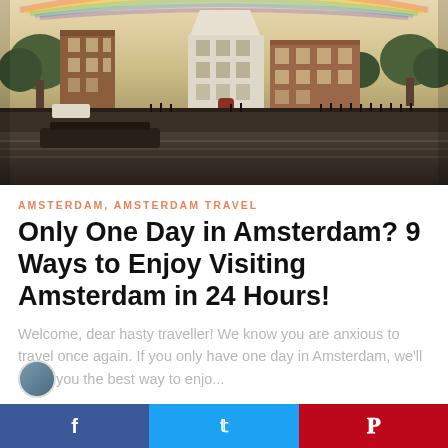[Figure (photo): Amsterdam canal scene with tall brick buildings, trees, a bridge with bicycles, and a rainbow in the sky reflected in the canal water]
AMSTERDAM, AMSTERDAM TRAVEL
Only One Day in Amsterdam? 9 Ways to Enjoy Visiting Amsterdam in 24 Hours!
Welcome, dear hasty traveller! We know you are anxious to travel once again. If you only have one day in Amsterdam, we'll show you the best way to enjo...